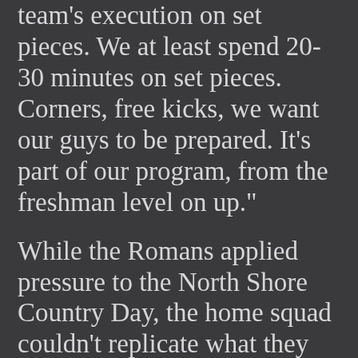team's execution on set pieces. We at least spend 20-30 minutes on set pieces. Corners, free kicks, we want our guys to be prepared. It's part of our program, from the freshman level on up."
While the Romans applied pressure to the North Shore Country Day, the home squad couldn't replicate what they did in the first half. The Raiders only managed one shot on goal and three free kicks in the second half.
"They came out fast in the second half, and we didn't match that intensity," Kyle Jones said. "We got punished. If you let the ball bounce